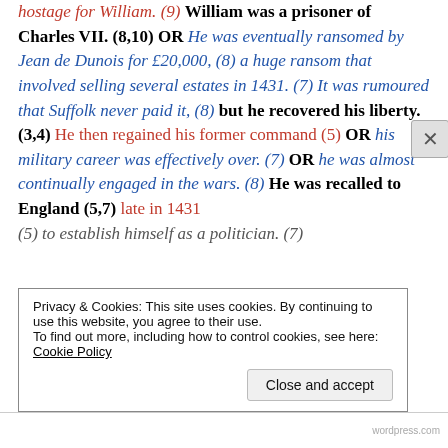hostage for William. (9) William was a prisoner of Charles VII. (8,10) OR He was eventually ransomed by Jean de Dunois for £20,000, (8) a huge ransom that involved selling several estates in 1431. (7) It was rumoured that Suffolk never paid it, (8) but he recovered his liberty. (3,4) He then regained his former command (5) OR his military career was effectively over. (7) OR he was almost continually engaged in the wars. (8) He was recalled to England (5,7) late in 1431 (5) to establish himself as a politician. (7)
Privacy & Cookies: This site uses cookies. By continuing to use this website, you agree to their use. To find out more, including how to control cookies, see here: Cookie Policy